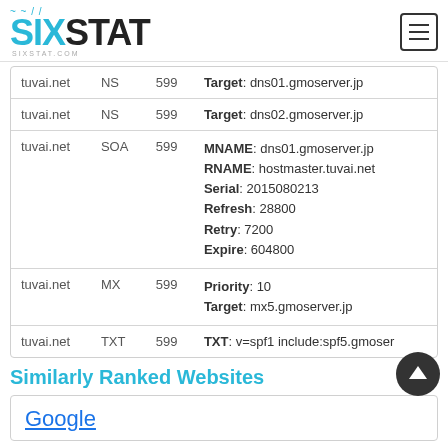SIXSTAT sixstat.com
| Host | Type | TTL | Data |
| --- | --- | --- | --- |
| tuvai.net | NS | 599 | Target: dns01.gmoserver.jp |
| tuvai.net | NS | 599 | Target: dns02.gmoserver.jp |
| tuvai.net | SOA | 599 | MNAME: dns01.gmoserver.jp
RNAME: hostmaster.tuvai.net
Serial: 2015080213
Refresh: 28800
Retry: 7200
Expire: 604800 |
| tuvai.net | MX | 599 | Priority: 10
Target: mx5.gmoserver.jp |
| tuvai.net | TXT | 599 | TXT: v=spf1 include:spf5.gmoser |
Similarly Ranked Websites
Google